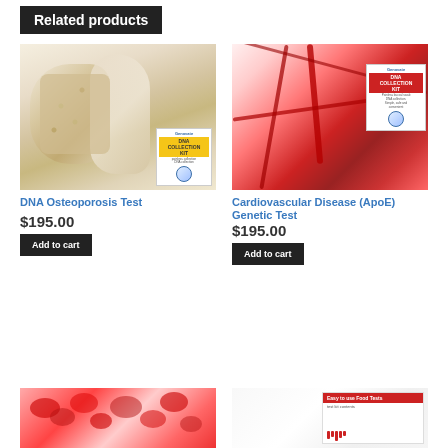Related products
[Figure (photo): DNA Osteoporosis Test product kit shown against a background of bone cross-section imagery]
DNA Osteoporosis Test
$195.00
Add to cart
[Figure (photo): Cardiovascular Disease (ApoE) Genetic Test product kit shown against a background of red blood vessels]
Cardiovascular Disease (ApoE) Genetic Test
$195.00
Add to cart
[Figure (photo): Partial view of another product image showing red blood cells]
[Figure (photo): Partial view of another product box]